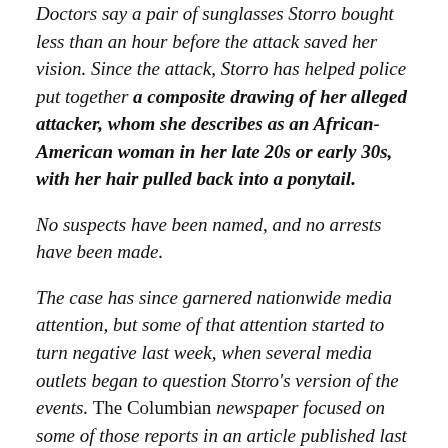Doctors say a pair of sunglasses Storro bought less than an hour before the attack saved her vision. Since the attack, Storro has helped police put together a composite drawing of her alleged attacker, whom she describes as an African-American woman in her late 20s or early 30s, with her hair pulled back into a ponytail.
No suspects have been named, and no arrests have been made.
The case has since garnered nationwide media attention, but some of that attention started to turn negative last week, when several media outlets began to question Storro's version of the events. The Columbian newspaper focused on some of those reports in an article published last week.
“With no suspect identified 10 days after Bethany Storro